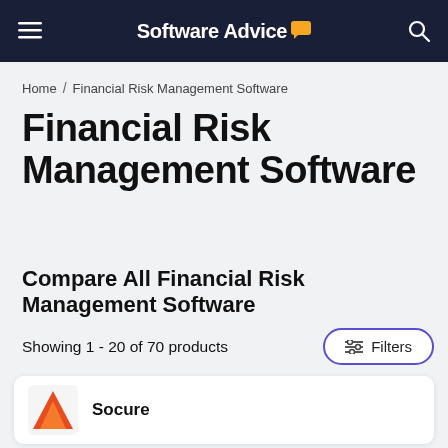Software Advice
Home / Financial Risk Management Software
Financial Risk Management Software
Compare All Financial Risk Management Software
Showing 1 - 20 of 70 products
Socure